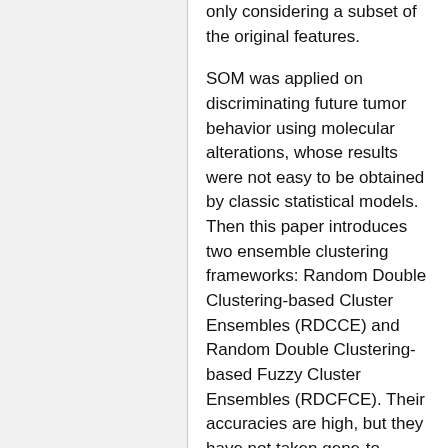only considering a subset of the original features.
SOM was applied on discriminating future tumor behavior using molecular alterations, whose results were not easy to be obtained by classic statistical models. Then this paper introduces two ensemble clustering frameworks: Random Double Clustering-based Cluster Ensembles (RDCCE) and Random Double Clustering-based Fuzzy Cluster Ensembles (RDCFCE). Their accuracies are high, but they have not taken gene-to-cluster assignment into consideration.
Also, the paper provides double SOM based Clustering Ensemble Approach (SOM2CE) and double NG-based Clustering Ensemble Approach (NG2CE), which are robust to noisy